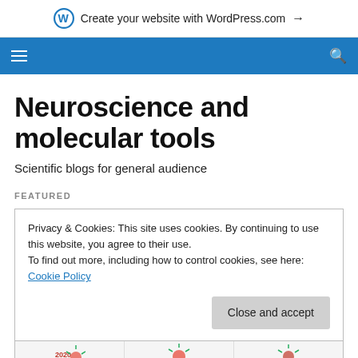Create your website with WordPress.com →
[Figure (other): Blue navigation bar with hamburger menu icon on left and search icon on right]
Neuroscience and molecular tools
Scientific blogs for general audience
FEATURED
Privacy & Cookies: This site uses cookies. By continuing to use this website, you agree to their use.
To find out more, including how to control cookies, see here: Cookie Policy
Close and accept
[Figure (photo): Partial view of featured article images showing virus/coronavirus illustrations with text '2020']